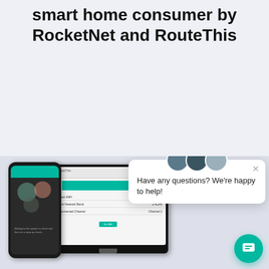smart home consumer by RocketNet and RouteThis
[Figure (screenshot): Screenshot of a mobile app (RouteThis) showing a Venn diagram on dark background, alongside a desktop monitor screenshot showing network diagnostic data rows and a teal action button. A chat popup with three avatar photos and text 'Have any questions? We're happy to help!' overlays the top right. A teal circular chat bubble icon appears bottom right.]